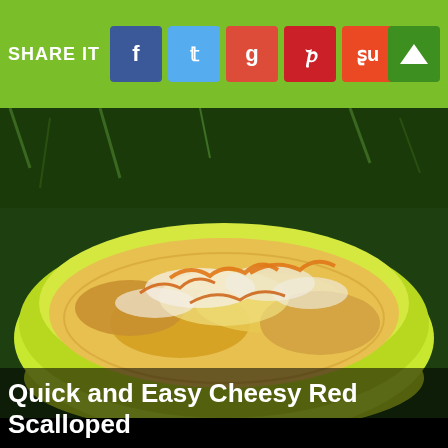[Figure (screenshot): Social media share toolbar with green background containing SHARE IT text, Facebook, Twitter, Google+, Pinterest, StumbleUpon buttons, and an up arrow button]
[Figure (photo): Photo of cheesy red scalloped potatoes in a lime-green baking dish, topped with melted orange and white cheese, set on a grassy background]
Quick and Easy Cheesy Red Scalloped